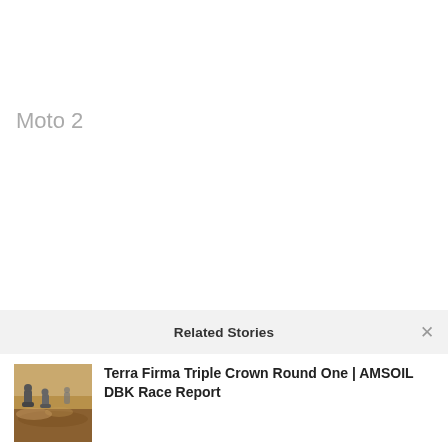Moto 2
Related Stories
Terra Firma Triple Crown Round One | AMSOIL DBK Race Report